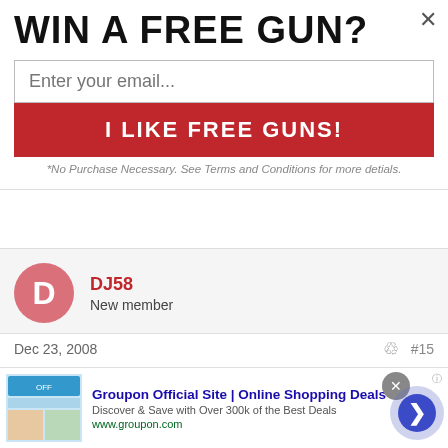WIN A FREE GUN?
Enter your email...
I LIKE FREE GUNS!
*No Purchase Necessary. See Terms and Conditions for more detials.
DJ58
New member
Dec 23, 2008	#15
It's always Marry Christmas and a Happy New Year here. and to all of you too.
Groupon Official Site | Online Shopping Deals
Discover & Save with Over 300k of the Best Deals
www.groupon.com